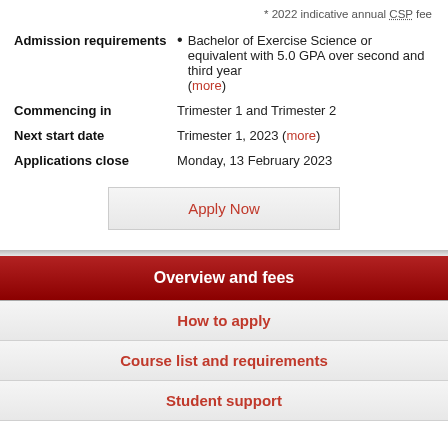* 2022 indicative annual CSP fee
Admission requirements
Bachelor of Exercise Science or equivalent with 5.0 GPA over second and third year (more)
Commencing in: Trimester 1 and Trimester 2
Next start date: Trimester 1, 2023 (more)
Applications close: Monday, 13 February 2023
Apply Now
Overview and fees
How to apply
Course list and requirements
Student support